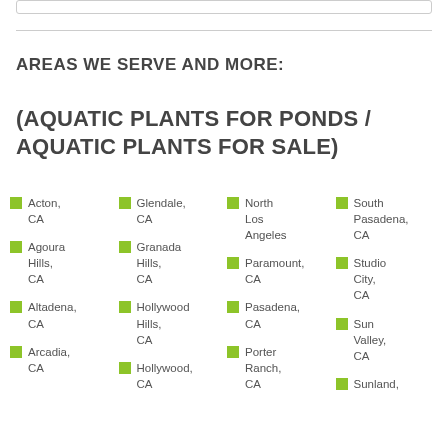AREAS WE SERVE AND MORE:
(AQUATIC PLANTS FOR PONDS / AQUATIC PLANTS FOR SALE)
Acton, CA
Glendale, CA
North Los Angeles
South Pasadena, CA
Agoura Hills, CA
Granada Hills, CA
Paramount, CA
Studio City, CA
Altadena, CA
Hollywood Hills, CA
Pasadena, CA
Sun Valley, CA
Arcadia, CA
Hollywood, CA
Porter Ranch, CA
Sunland,